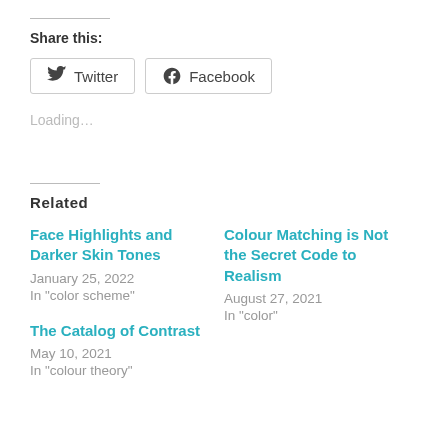Share this:
Twitter  Facebook
Loading…
Related
Face Highlights and Darker Skin Tones
January 25, 2022
In "color scheme"
Colour Matching is Not the Secret Code to Realism
August 27, 2021
In "color"
The Catalog of Contrast
May 10, 2021
In "colour theory"